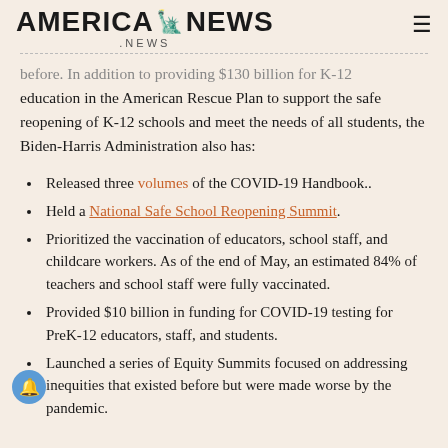AMERICA NEWS .NEWS
before. In addition to providing $130 billion for K-12 education in the American Rescue Plan to support the safe reopening of K-12 schools and meet the needs of all students, the Biden-Harris Administration also has:
Released three volumes of the COVID-19 Handbook..
Held a National Safe School Reopening Summit.
Prioritized the vaccination of educators, school staff, and childcare workers. As of the end of May, an estimated 84% of teachers and school staff were fully vaccinated.
Provided $10 billion in funding for COVID-19 testing for PreK-12 educators, staff, and students.
Launched a series of Equity Summits focused on addressing inequities that existed before but were made worse by the pandemic.